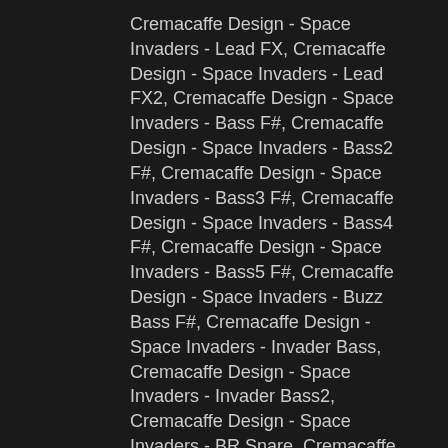Cremacaffe Design - Space Invaders - Lead FX, Cremacaffe Design - Space Invaders - Lead FX2, Cremacaffe Design - Space Invaders - Bass F#, Cremacaffe Design - Space Invaders - Bass2 F#, Cremacaffe Design - Space Invaders - Bass3 F#, Cremacaffe Design - Space Invaders - Bass4 F#, Cremacaffe Design - Space Invaders - Bass5 F#, Cremacaffe Design - Space Invaders - Buzz Bass F#, Cremacaffe Design - Space Invaders - Invader Bass, Cremacaffe Design - Space Invaders - Invader Bass2, Cremacaffe Design - Space Invaders - BR Snare, Cremacaffe Design - Space Invaders - drum kick, Cremacaffe Design - Space Invaders - Explo Kick, Cremacaffe Design - Space Invaders - HiHat delay, Cremacaffe Design - Space Invaders - HiHat, Cremacaffe Design - Space Invaders - Huge HiHat, Cremacaffe Design - Space Invaders - Huge Kick, Cremacaffe Design - Space Invaders - Snare, Cremacaffe Design - Space Invaders - Arcade Samples, Cremacaffe Design - Space Invaders - Invader, Cremacaffe Design - Space Invaders - Invader2, Cremacaffe Design - Space Invaders -